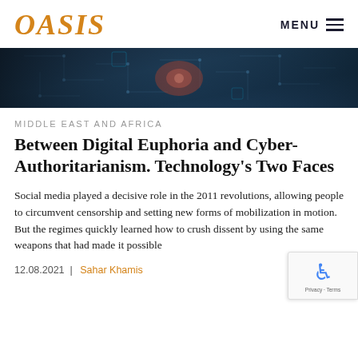OASIS | MENU
[Figure (photo): Dark tech/circuit board hero image with blue and teal tones, partial robot or machine imagery visible]
MIDDLE EAST AND AFRICA
Between Digital Euphoria and Cyber-Authoritarianism. Technology's Two Faces
Social media played a decisive role in the 2011 revolutions, allowing people to circumvent censorship and setting new forms of mobilization in motion. But the regimes quickly learned how to crush dissent by using the same weapons that had made it possible
12.08.2021 | Sahar Khamis